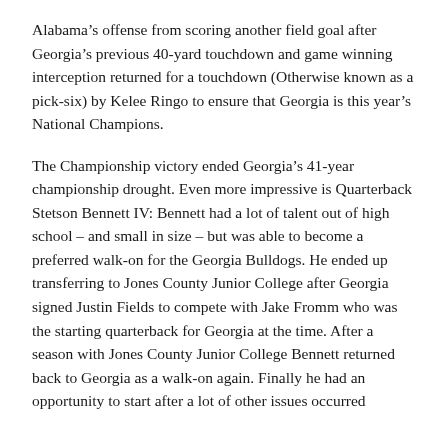Alabama's offense from scoring another field goal after Georgia's previous 40-yard touchdown and game winning interception returned for a touchdown (Otherwise known as a pick-six) by Kelee Ringo to ensure that Georgia is this year's National Champions.
The Championship victory ended Georgia's 41-year championship drought. Even more impressive is Quarterback Stetson Bennett IV: Bennett had a lot of talent out of high school – and small in size – but was able to become a preferred walk-on for the Georgia Bulldogs. He ended up transferring to Jones County Junior College after Georgia signed Justin Fields to compete with Jake Fromm who was the starting quarterback for Georgia at the time. After a season with Jones County Junior College Bennett returned back to Georgia as a walk-on again. Finally he had an opportunity to start after a lot of other issues occurred